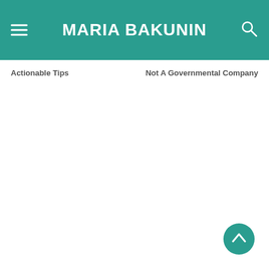MARIA BAKUNIN
Actionable Tips
Not A Governmental Company
[Figure (illustration): Scroll-to-top button: a teal circle with a white upward-pointing chevron arrow, positioned at bottom-right of the page.]